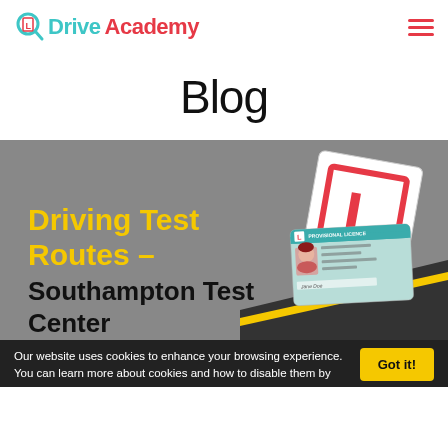Drive Academy
Blog
[Figure (illustration): Blog post thumbnail image with grey background showing an L-plate (red L on white square) and a provisional driving licence card illustration. Bold yellow text reads 'Driving Test Routes – Southampton Test Center' overlaid on the image with a dark road and yellow line graphic at the bottom.]
Our website uses cookies to enhance your browsing experience. You can learn more about cookies and how to disable them by